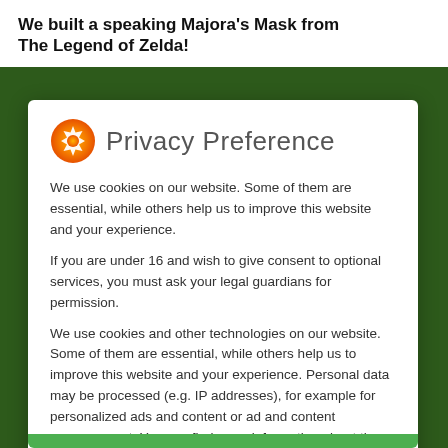We built a speaking Majora's Mask from The Legend of Zelda!
Privacy Preference
We use cookies on our website. Some of them are essential, while others help us to improve this website and your experience.
If you are under 16 and wish to give consent to optional services, you must ask your legal guardians for permission.
We use cookies and other technologies on our website. Some of them are essential, while others help us to improve this website and your experience. Personal data may be processed (e.g. IP addresses), for example for personalized ads and content or ad and content measurement. You can find more information about the use of your data in our privacy policy. You can revoke or adjust your selection at any time under Settings.
Essential
External Media